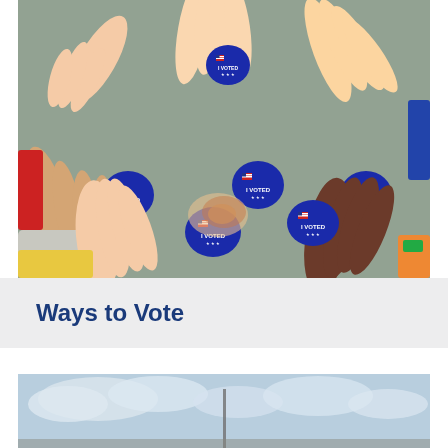[Figure (photo): Multiple hands of diverse people coming together in a circle, each hand wearing an 'I VOTED' sticker on the back]
Ways to Vote
[Figure (photo): Outdoor scene with sky and what appears to be a flagpole or building, partially visible]